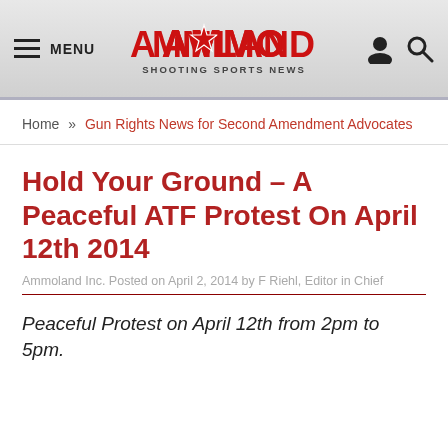MENU | AmmoLand Shooting Sports News
Home » Gun Rights News for Second Amendment Advocates
Hold Your Ground – A Peaceful ATF Protest On April 12th 2014
Ammoland Inc. Posted on April 2, 2014 by F Riehl, Editor in Chief
Peaceful Protest on April 12th from 2pm to 5pm.